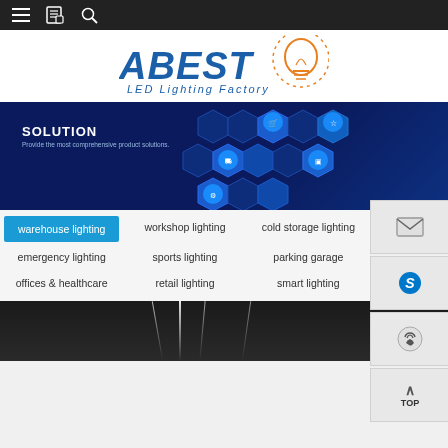≡  🔖  🔍
[Figure (logo): ABEST LED Lighting Factory logo with orange light bulb graphic and blue stylized text]
[Figure (infographic): Dark blue banner with SOLUTION heading, subtitle 'Provide the most comprehensive product solutions.' and glowing blue hexagon icons on the right. Sidebar with email, Skype, phone and TOP buttons on the far right.]
warehouse lighting
workshop lighting
cold storage lighting
emergency lighting
sports lighting
parking garage
offices & healthcare
retail lighting
smart lighting
farming lighting
Warehouse Lighting
[Figure (photo): Dark warehouse interior with bright overhead LED lighting strip visible]